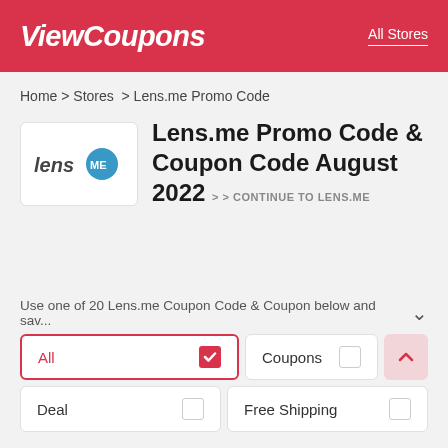ViewCoupons   All Stores
Home > Stores > Lens.me Promo Code
[Figure (logo): Lens.ME logo — word 'lens' in italic followed by circular blue badge with 'ME' in white]
Lens.me Promo Code & Coupon Code August 2022 > > CONTINUE TO LENS.ME
Use one of 20 Lens.me Coupon Code & Coupon below and sav...
All (checked)
Coupons
Deal
Free Shipping